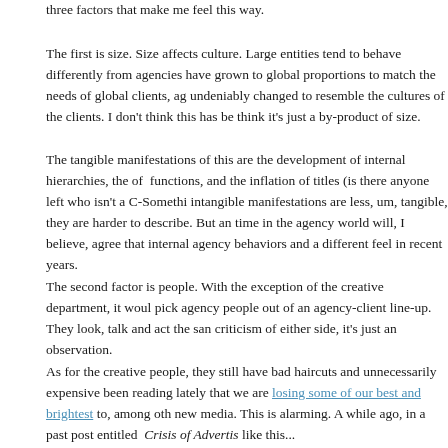three factors that make me feel this way.
The first is size. Size affects culture. Large entities tend to behave differently from agencies have grown to global proportions to match the needs of global clients, ag undeniably changed to resemble the cultures of the clients. I don't think this has be think it's just a by-product of size.
The tangible manifestations of this are the development of internal hierarchies, the of functions, and the inflation of titles (is there anyone left who isn't a C-Somethi intangible manifestations are less, um, tangible, they are harder to describe. But an time in the agency world will, I believe, agree that internal agency behaviors and a different feel in recent years.
The second factor is people. With the exception of the creative department, it woul pick agency people out of an agency-client line-up. They look, talk and act the san criticism of either side, it's just an observation.
As for the creative people, they still have bad haircuts and unnecessarily expensive been reading lately that we are losing some of our best and brightest to, among oth new media. This is alarming. A while ago, in a past post entitled Crisis of Advertis like this...